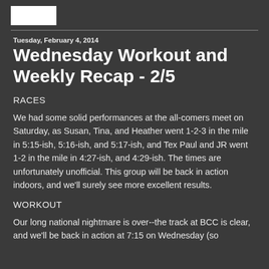Tuesday, February 4, 2014
Wednesday Workout and Weekly Recap - 2/5
RACES
We had some solid performances at the all-comers meet on Saturday, as Susan, Tina, and Heather went 1-2-3 in the mile in 5:15-ish, 5:16-ish, and 5:17-ish, and Tex Paul and JR went 1-2 in the mile in 4:27-ish, and 4:29-ish.  The times are unfortunately unofficial.  This group will be back in action indoors, and we'll surely see more excellent results.
WORKOUT
Our long national nightmare is over--the track at BCC is clear, and we'll be back in action at 7:15 on Wednesday (so